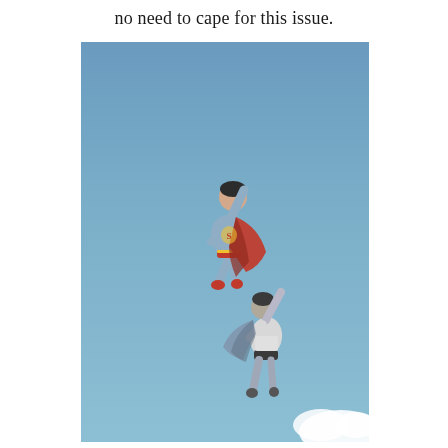no need to cape for this issue.
[Figure (photo): Photograph of a blue sky with two illustrated superheroes flying upward. The upper figure is Superman in a classic blue and red costume with a red cape. The lower figure is a grey/blue superhero without a colorful cape, wearing a white top and dark shorts, also flying upward with one arm raised. A small white cloud appears in the bottom right corner.]